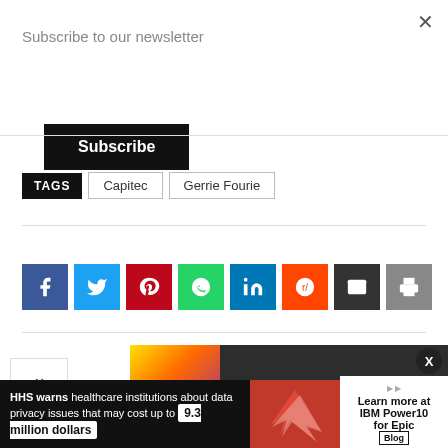×
Subscribe to our newsletter
Subscribe
TAGS  Capitec  Gerrie Fourie
[Figure (infographic): Social sharing buttons: Facebook (blue), Twitter (light blue), Pinterest (red), WhatsApp (green), LinkedIn (blue), Reddit (orange), Email (dark), Print (grey)]
[Figure (infographic): Subscribe banner with colourful icon and SUBSCRIBE text on dark background]
∨
HHS warns healthcare institutions about data privacy issues that may cost up to 9.3 million dollars  Learn more at IBM Power10 for Epic Blog